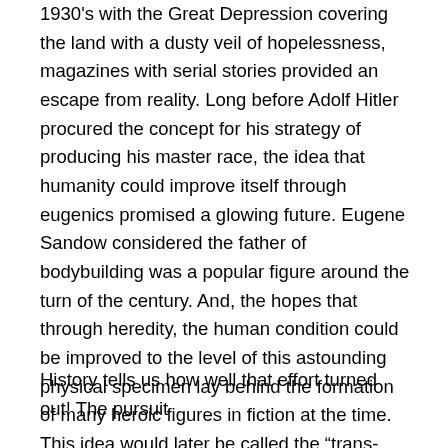1930's with the Great Depression covering the land with a dusty veil of hopelessness, magazines with serial stories provided an escape from reality. Long before Adolf Hitler procured the concept for his strategy of producing his master race, the idea that humanity could improve itself through eugenics promised a glowing future. Eugene Sandow considered the father of bodybuilding was a popular figure around the turn of the century. And, the hopes that through heredity, the human condition could be improved to the level of this astounding physical specimen lay behind the formation of many heroic figures in fiction at the time. This idea would later be called the “trans-human” effort to produce a superior human being.
History tells us how well that effort turned out! The pursuit